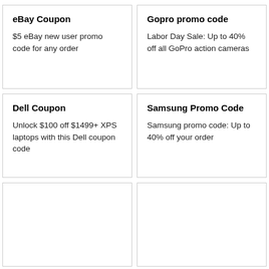eBay Coupon
$5 eBay new user promo code for any order
Gopro promo code
Labor Day Sale: Up to 40% off all GoPro action cameras
Dell Coupon
Unlock $100 off $1499+ XPS laptops with this Dell coupon code
Samsung Promo Code
Samsung promo code: Up to 40% off your order